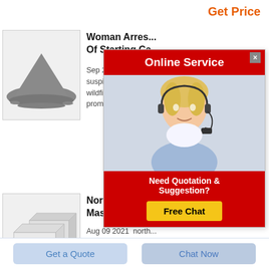Get Price
[Figure (photo): Pile of gray powder/cement material, with a small globe logo in top-left corner]
Woman Arres... Of Starting Ca...
Sep 24 2021  a wo... suspicion of starting wildfire that spread prompting evacuati...
[Figure (infographic): Online Service popup with customer service agent photo, red header, and Free Chat button]
[Figure (photo): Two white rectangular masonry blocks/bricks stacked]
North America... Masonry Mark...
Aug 09 2021  north... masonry reports our 2021 north america report include trends statistics opportunities sales data market share segmentation projections on the brick stone masonry market page 1
Get a Quote
Chat Now